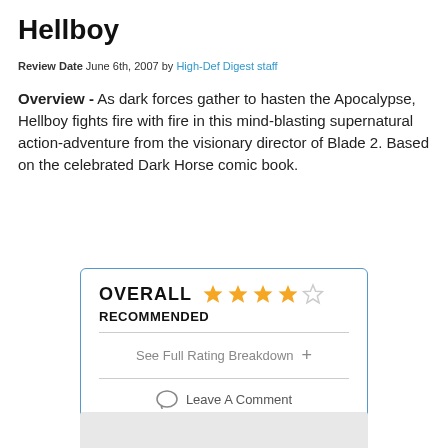Hellboy
Review Date June 6th, 2007 by High-Def Digest staff
Overview - As dark forces gather to hasten the Apocalypse, Hellboy fights fire with fire in this mind-blasting supernatural action-adventure from the visionary director of Blade 2. Based on the celebrated Dark Horse comic book.
[Figure (infographic): Rating box with OVERALL label, 4 out of 5 stars filled in gold, RECOMMENDED label, a 'See Full Rating Breakdown +' link, and a 'Leave A Comment' button with speech bubble icon]
[Figure (other): Grey placeholder box at bottom of page]